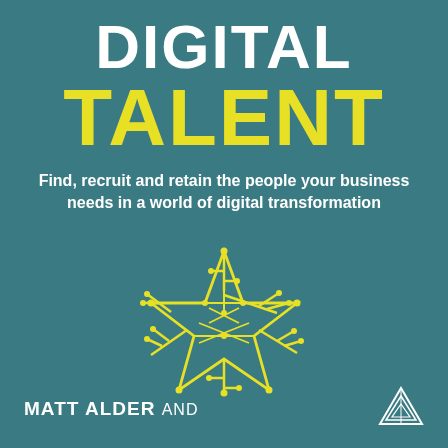DIGITAL TALENT
Find, recruit and retain the people your business needs in a world of digital transformation
[Figure (illustration): Circuit-board star logo made of yellow lines and dots on teal background]
MATT ALDER AND